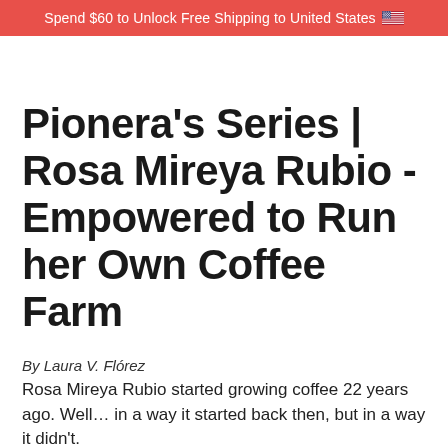Spend $60 to Unlock Free Shipping to United States 🇺🇸
Pionera's Series | Rosa Mireya Rubio - Empowered to Run her Own Coffee Farm
By Laura V. Flórez
Rosa Mireya Rubio started growing coffee 22 years ago. Well… in a way it started back then, but in a way it didn't.
She was born and raised in the city. She moved to the rural area she now calls home, El Cairo, when she got married. Her